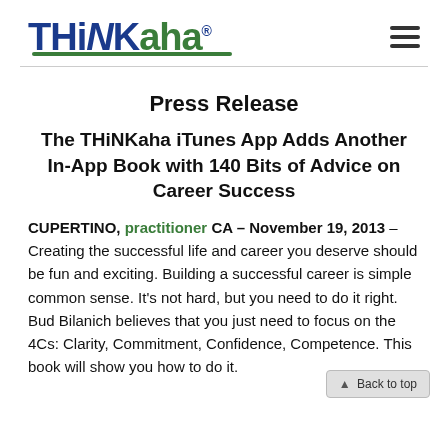THiNKaha® [logo with hamburger menu]
Press Release
The THiNKaha iTunes App Adds Another In-App Book with 140 Bits of Advice on Career Success
CUPERTINO, practitioner CA – November 19, 2013 – Creating the successful life and career you deserve should be fun and exciting. Building a successful career is simple common sense. It's not hard, but you need to do it right. Bud Bilanich believes that you just need to focus on the 4Cs: Clarity, Commitment, Confidence, Competence. This book will show you how to do it.